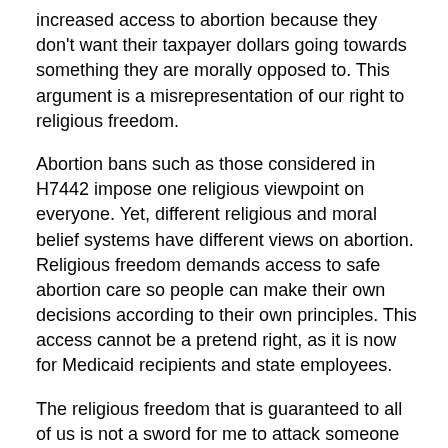increased access to abortion because they don't want their taxpayer dollars going towards something they are morally opposed to. This argument is a misrepresentation of our right to religious freedom.
Abortion bans such as those considered in H7442 impose one religious viewpoint on everyone. Yet, different religious and moral belief systems have different views on abortion. Religious freedom demands access to safe abortion care so people can make their own decisions according to their own principles. This access cannot be a pretend right, as it is now for Medicaid recipients and state employees.
The religious freedom that is guaranteed to all of us is not a sword for me to attack someone who is doing something that goes against my personal beliefs. Our right to religious freedom is a shield to protect me (and you) from others dictating how we follow our own values. We must not legislate based on the spiritual beliefs of some of our members.
As an additional analogy, I am (as a pacifist) morally opposed to my tax dollars funding military spending. However, I don't